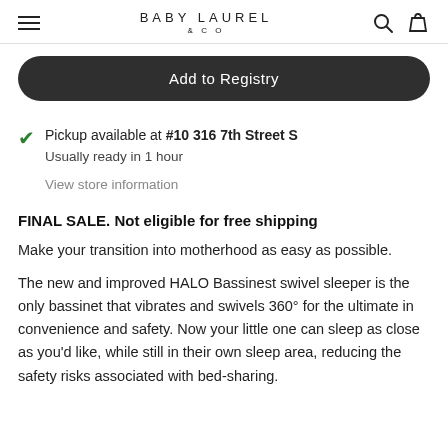BABY LAUREL & CO
Add to Registry
Pickup available at #10 316 7th Street S
Usually ready in 1 hour
View store information
FINAL SALE. Not eligible for free shipping
Make your transition into motherhood as easy as possible.
The new and improved HALO Bassinest swivel sleeper is the only bassinet that vibrates and swivels 360° for the ultimate in convenience and safety. Now your little one can sleep as close as you'd like, while still in their own sleep area, reducing the safety risks associated with bed-sharing.